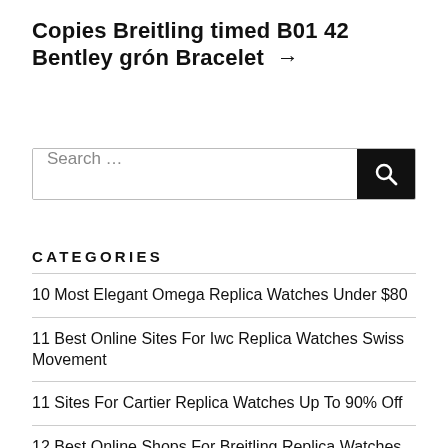Copies Breitling timed B01 42 Bentley grón Bracelet →
[Figure (other): Search bar with text input field showing 'Search …' placeholder and a dark search button with magnifying glass icon]
CATEGORIES
10 Most Elegant Omega Replica Watches Under $80
11 Best Online Sites For Iwc Replica Watches Swiss Movement
11 Sites For Cartier Replica Watches Up To 90% Off
12 Best Online Shops For Breitling Replica Watches 80%